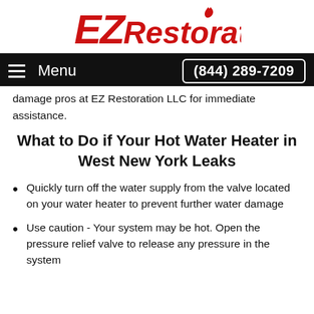[Figure (logo): EZ Restoration logo in red stylized italic text with a flame above the letter i]
Menu  (844) 289-7209
damage pros at EZ Restoration LLC for immediate assistance.
What to Do if Your Hot Water Heater in West New York Leaks
Quickly turn off the water supply from the valve located on your water heater to prevent further water damage
Use caution - Your system may be hot. Open the pressure relief valve to release any pressure in the system